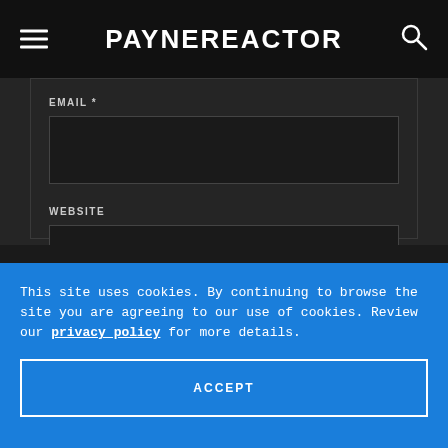PAYNEREACTOR
EMAIL *
WEBSITE
SUBMIT COMMENT
This site uses cookies. By continuing to browse the site you are agreeing to our use of cookies. Review our privacy policy for more details.
ACCEPT